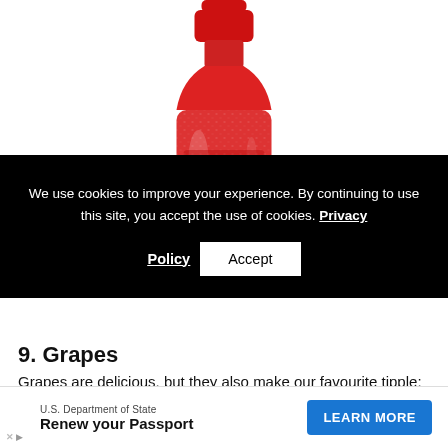[Figure (photo): Red Zoya nail polish bottle on white background, showing the bottle body with ZOYA brand name printed on it in white text]
We use cookies to improve your experience. By continuing to use this site, you accept the use of cookies. Privacy Policy  Accept
9. Grapes
Grapes are delicious, but they also make our favourite tipple: wine! Ella + Mila's In Line for Wine is a much
[Figure (other): Advertisement: U.S. Department of State - Renew your Passport - LEARN MORE button]